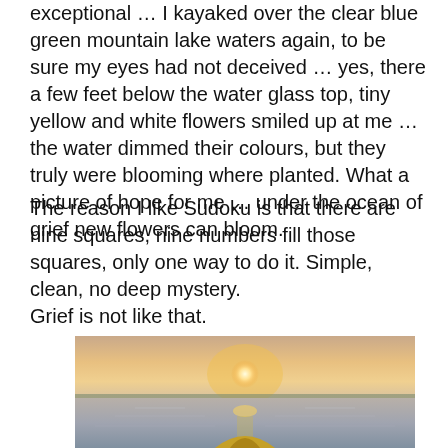exceptional … I kayaked over the clear blue green mountain lake waters again, to be sure my eyes had not deceived … yes, there a few feet below the water glass top, tiny yellow and white flowers smiled up at me … the water dimmed their colours, but they truly were blooming where planted. What a picture of hope for me … under the ocean of grief new flowers can bloom.
The reason I like Sudoku is that there are nine squares, nine numbers fill those squares, only one way to do it. Simple, clean, no deep mystery.
Grief is not like that.
[Figure (photo): A photograph taken from the bow of a kayak looking out over calm water toward a sunset. The sun is low on the horizon, casting a golden-orange reflection on the water. A distant shoreline or tree line is visible on the horizon. The front tip of a yellow kayak is visible at the bottom of the image.]